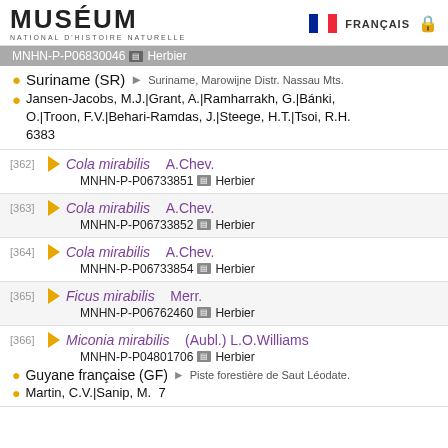MUSÉUM NATIONAL D'HISTOIRE NATURELLE — FRANÇAIS
MNHN-P-P06830046 Herbier
Suriname (SR) → Suriname, Marowijne Distr. Nassau Mts.
Jansen-Jacobs, M.J.|Grant, A.|Ramharrakh, G.|Bánki, O.|Troon, F.V.|Behari-Ramdas, J.|Steege, H.T.|Tsoi, R.H. 6383
[362] Cola mirabilis A.Chev. — MNHN-P-P06733851 Herbier
[363] Cola mirabilis A.Chev. — MNHN-P-P06733852 Herbier
[364] Cola mirabilis A.Chev. — MNHN-P-P06733854 Herbier
[365] Ficus mirabilis Merr. — MNHN-P-P06762460 Herbier
[366] Miconia mirabilis (Aubl.) L.O.Williams — MNHN-P-P04801706 Herbier
Guyane française (GF) → Piste forestière de Saut Léodate.
Martin, C.V.|Sanip, M.  7